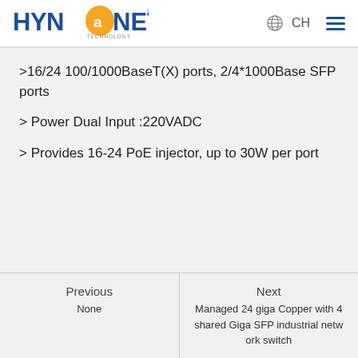HYNANET TECHNOLOGY | CH
>16/24 100/1000BaseT(X) ports, 2/4*1000Base SFP ports
> Power Dual Input :220VADC
> Provides 16-24 PoE injector, up to 30W per port
Previous: None | Next: Managed 24 giga Copper with 4 shared Giga SFP industrial network switch